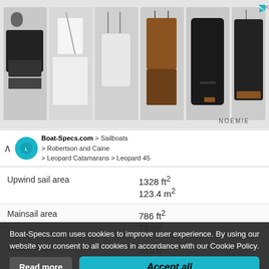[Figure (photo): Advertisement banner showing leather phone cases, crossbody cases, and accessories from Noemie brand. Six product images shown in a row.]
Boat-Specs.com > Sailboats > Robertson and Caine > Leopard Catamarans > Leopard 45
| Specification | Value |
| --- | --- |
| Upwind sail area | 1328 ft²
123.4 m² |
| Mainsail area | 786 ft²
73 m² |
| Genoa area | 543 ft²
50.4 m² |
| Rigging type | Sloop Marconi (square top mainsail) 9/10 |
| Mast configuration | Deck stepped mast |
| Ro... |  |
| Number of levels of spreaders | 1 |
| Spreaders angle | Swept-back (diamond) |
Boat-Specs.com uses cookies to improve user experience. By using our website you consent to all cookies in accordance with our Cookie Policy.
Read more
Accept all